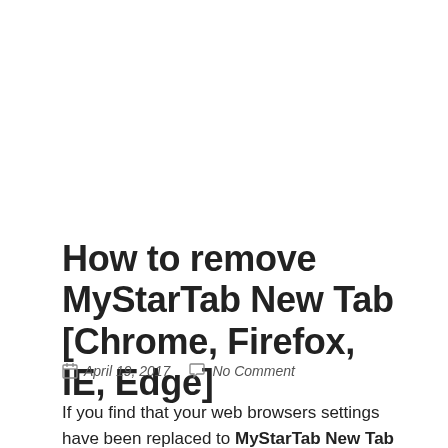How to remove MyStarTab New Tab [Chrome, Firefox, IE, Edge]
April 19, 2017   No Comment
If you find that your web browsers settings have been replaced to MyStarTab New Tab without your